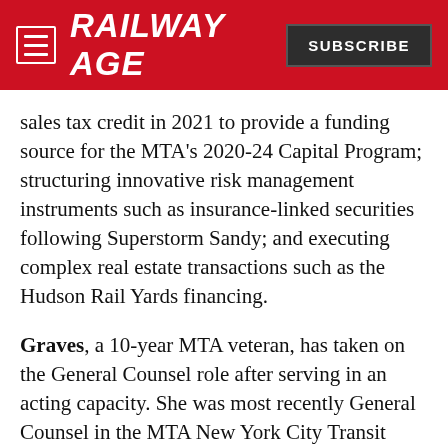RAILWAY AGE | SUBSCRIBE
sales tax credit in 2021 to provide a funding source for the MTA's 2020-24 Capital Program; structuring innovative risk management instruments such as insurance-linked securities following Superstorm Sandy; and executing complex real estate transactions such as the Hudson Rail Yards financing.
Graves, a 10-year MTA veteran, has taken on the General Counsel role after serving in an acting capacity. She was most recently General Counsel in the MTA New York City Transit Law Department, at MTA Long Island Rail Road and at MTA Bus Company. Graves started her legal career as a prosecutor in the Manhattan District